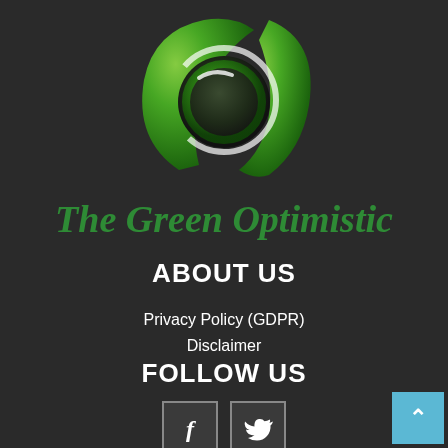[Figure (logo): The Green Optimistic logo: a green circular swirl/leaf design forming an abstract O shape with a dark center sphere, followed by the italic green text 'The Green Optimistic']
ABOUT US
Privacy Policy (GDPR)
Disclaimer
FOLLOW US
[Figure (other): Social media icons: Facebook (f) and Twitter (bird) icon boxes]